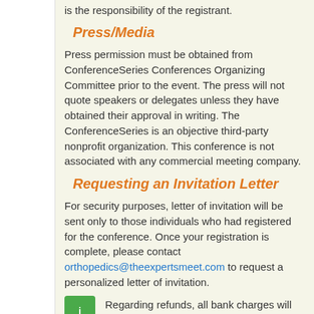is the responsibility of the registrant.
Press/Media
Press permission must be obtained from ConferenceSeries Conferences Organizing Committee prior to the event. The press will not quote speakers or delegates unless they have obtained their approval in writing. The ConferenceSeries is an objective third-party nonprofit organization. This conference is not associated with any commercial meeting company.
Requesting an Invitation Letter
For security purposes, letter of invitation will be sent only to those individuals who had registered for the conference. Once your registration is complete, please contact orthopedics@theexpertsmeet.com to request a personalized letter of invitation.
Regarding refunds, all bank charges will be for the registrants account.
This cancellation policy was last updated on April